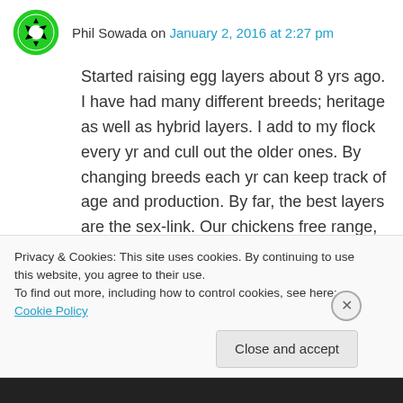Phil Sowada on January 2, 2016 at 2:27 pm
Started raising egg layers about 8 yrs ago. I have had many different breeds; heritage as well as hybrid layers. I add to my flock every yr and cull out the older ones. By changing breeds each yr can keep track of age and production. By far, the best layers are the sex-link. Our chickens free range, spring, summer and fall with access to a natural layer ration and calcium. I really like the black stars for hardiness and people friendly.
Privacy & Cookies: This site uses cookies. By continuing to use this website, you agree to their use.
To find out more, including how to control cookies, see here: Cookie Policy